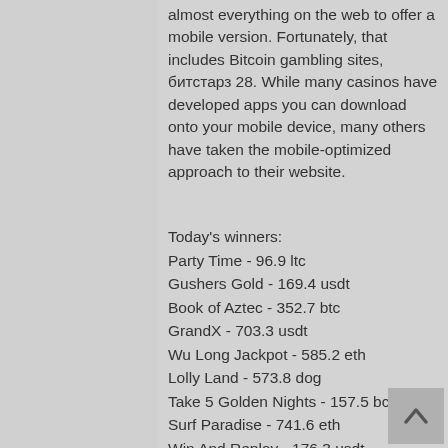almost everything on the web to offer a mobile version. Fortunately, that includes Bitcoin gambling sites, битстарз 28. While many casinos have developed apps you can download onto your mobile device, many others have taken the mobile-optimized approach to their website.
Today's winners:
Party Time - 96.9 ltc
Gushers Gold - 169.4 usdt
Book of Aztec - 352.7 btc
GrandX - 703.3 usdt
Wu Long Jackpot - 585.2 eth
Lolly Land - 573.8 dog
Take 5 Golden Nights - 157.5 bch
Surf Paradise - 741.6 eth
Win And Replay - 176.3 usdt
Take 5 Christmas Edition - 574.5 ltc
Lucky Royale - 537.4 usdt
Classic Fruit - 589.5 eth